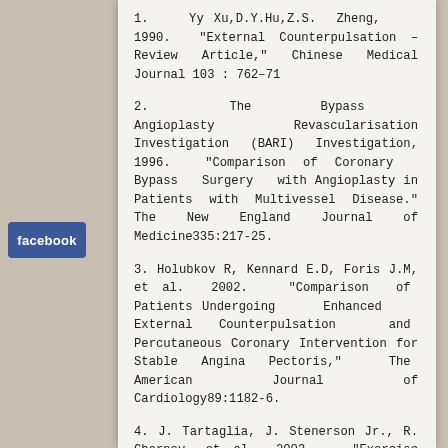1.  Yy Xu,D.Y.Hu,Z.S. Zheng, 1990. "External Counterpulsation – Review Article," Chinese Medical Journal 103 : 762–71
2.  The Bypass Angioplasty Revascularisation Investigation (BARI) Investigation, 1996. "Comparison of Coronary Bypass Surgery with Angioplasty in Patients with Multivessel Disease." The New England Journal of Medicine335:217-25.
3. Holubkov R, Kennard E.D, Foris J.M, et al. 2002. "Comparison of Patients Undergoing Enhanced External Counterpulsation and Percutaneous Coronary Intervention for Stable Angina Pectoris," The American Journal of Cardiology89:1182-6.
4. J. Tartaglia, J. Stenerson Jr., R. Charney, et al., 2003. "Exercise Capability and